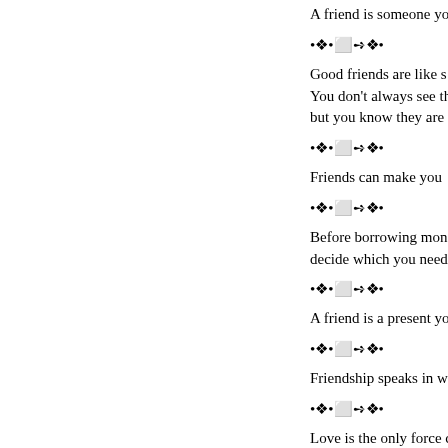A friend is someone yo
•❖•⬜➺❖•
Good friends are like s
You don't always see th
but you know they are
•❖•⬜➺❖•
Friends can make you
•❖•⬜➺❖•
Before borrowing mone
decide which you need
•❖•⬜➺❖•
A friend is a present yo
•❖•⬜➺❖•
Friendship speaks in w
•❖•⬜➺❖•
Love is the only force c
an enemy into a friend.
- Martin Luther King, Jr